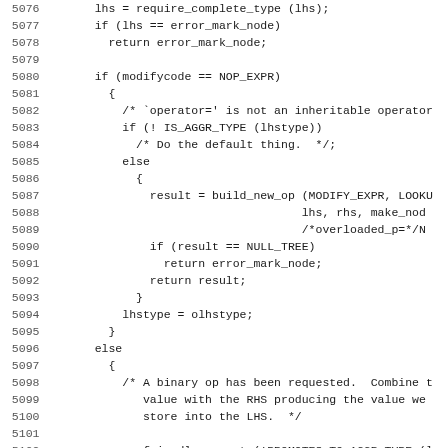Source code listing lines 5076-5107 showing C++ code for operator assignment and binary operation handling